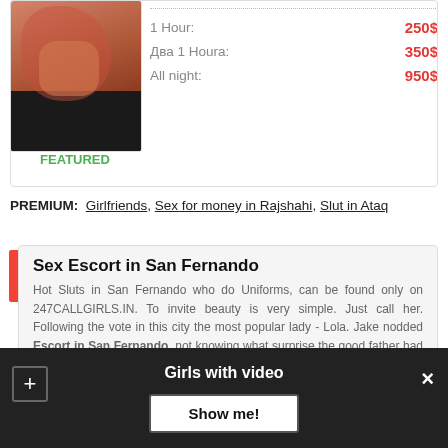[Figure (photo): Photo of a person wearing red lingerie and black thigh-high stockings]
FEATURED
1 Hour: 250$
Два 1 Houra: 350$
All night: 950$
PREMIUM: Girlfriends, Sex for money in Rajshahi, Slut in Ataq
Sex Escort in San Fernando
Hot Sluts in San Fernando who do Uniforms, can be found only on 247CALLGIRLS.IN. To invite beauty is very simple. Just call her. Following the vote in this city the most popular lady - Lola. Jake nodded Escort in San Fernando, not knowing what surprise the good father had intended. eaten any erotic food items.
Girls with video
Show me!